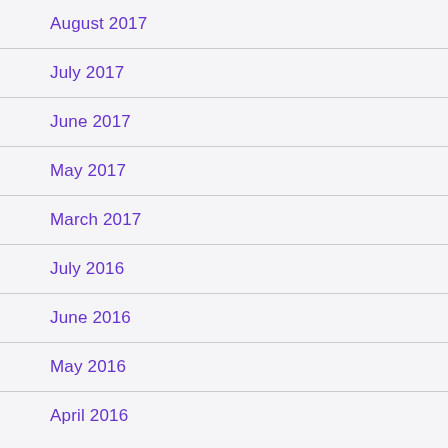August 2017
July 2017
June 2017
May 2017
March 2017
July 2016
June 2016
May 2016
April 2016